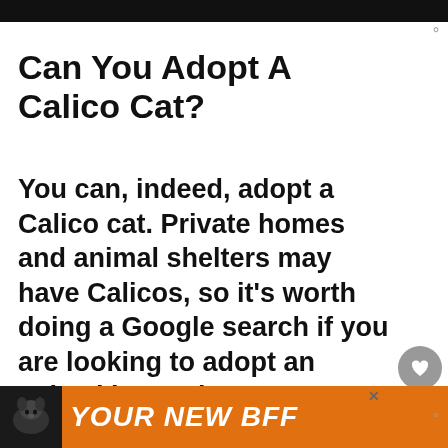[Figure (photo): Dark/black top image bar from a pet article page screenshot]
Can You Adopt A Calico Cat?
You can, indeed, adopt a Calico cat. Private homes and animal shelters may have Calicos, so it's worth doing a Google search if you are looking to adopt an animal in need.
Some organizations
[Figure (screenshot): Orange advertisement banner at the bottom showing a dog and text YOUR NEW BFF]